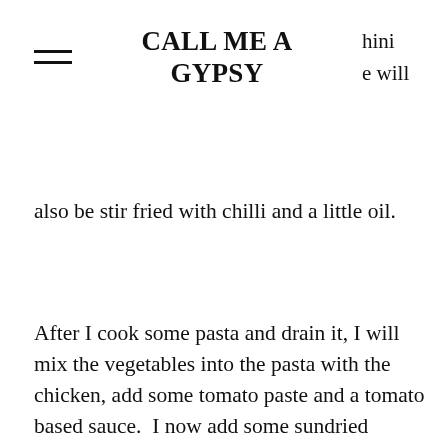CALL ME A GYPSY
also be stir fried with chilli and a little oil.
After I cook some pasta and drain it, I will mix the vegetables into the pasta with the chicken, add some tomato paste and a tomato based sauce.  I now add some sundried tomatoes with some of the oil, fresh basil and we are ready to eat.
[Figure (photo): A plate of food featuring grilled chicken topped with a fresh avocado and tomato salsa, served on a wooden board.]